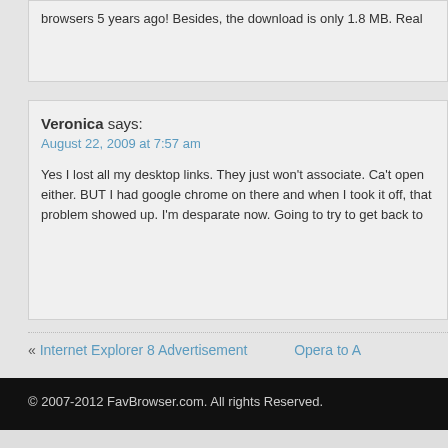browsers 5 years ago! Besides, the download is only 1.8 MB. Real
Veronica says:
August 22, 2009 at 7:57 am
Yes I lost all my desktop links. They just won't associate. Ca't open either. BUT I had google chrome on there and when I took it off, that problem showed up. I'm desparate now. Going to try to get back to
« Internet Explorer 8 Advertisement    Opera to A
© 2007-2012 FavBrowser.com. All rights Reserved.